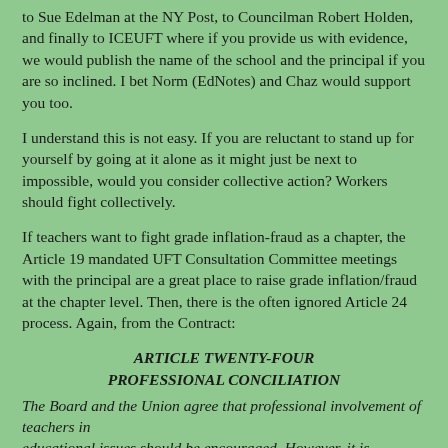to Sue Edelman at the NY Post, to Councilman Robert Holden, and finally to ICEUFT where if you provide us with evidence, we would publish the name of the school and the principal if you are so inclined. I bet Norm (EdNotes) and Chaz would support you too.
I understand this is not easy. If you are reluctant to stand up for yourself by going at it alone as it might just be next to impossible, would you consider collective action? Workers should fight collectively.
If teachers want to fight grade inflation-fraud as a chapter, the Article 19 mandated UFT Consultation Committee meetings with the principal are a great place to raise grade inflation/fraud at the chapter level. Then, there is the often ignored Article 24 process. Again, from the Contract:
ARTICLE TWENTY-FOUR
PROFESSIONAL CONCILIATION
The Board and the Union agree that professional involvement of teachers in
educational issues should be encouraged. However, it is